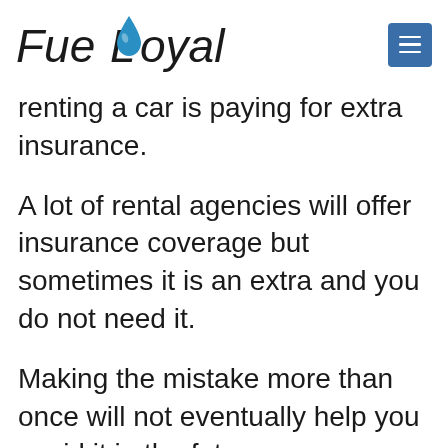FueLoyaL
renting a car is paying for extra insurance.
A lot of rental agencies will offer insurance coverage but sometimes it is an extra and you do not need it.
Making the mistake more than once will not eventually help you avoid it in the future.